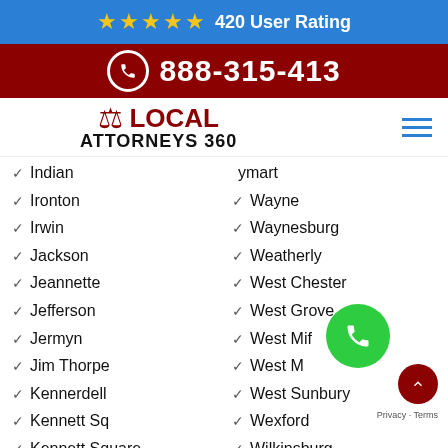★★★★★ 420 User Rating
888-315-413
LOCAL ATTORNEYS 360
Indian
ymart
Ironton
Wayne
Irwin
Waynesburg
Jackson
Weatherly
Jeannette
West Chester
Jefferson
West Grove
Jermyn
West Mif...
Jim Thorpe
West M...
Kennerdell
West Sunbury
Kennett Sq
Wexford
Kennett Square
Wilkinsburg
King Of Prussia
Windber